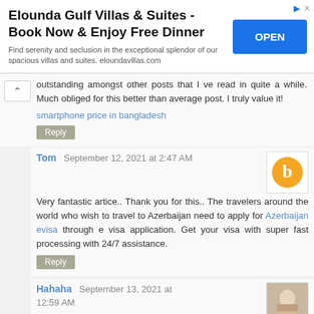[Figure (infographic): Advertisement banner for Elounda Gulf Villas & Suites with OPEN button]
outstanding amongst other posts that I ve read in quite a while. Much obliged for this better than average post. I truly value it!
smartphone price in bangladesh
Reply
Tom September 12, 2021 at 2:47 AM
Very fantastic artice.. Thank you for this.. The travelers around the world who wish to travel to Azerbaijan need to apply for Azerbaijan evisa through e visa application. Get your visa with super fast processing with 24/7 assistance.
Reply
Hahaha September 13, 2021 at 12:59 AM
This is very interesting, You are a very